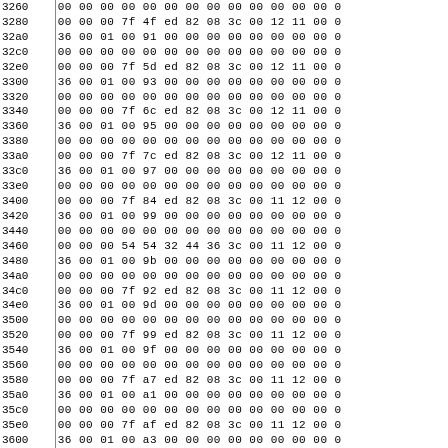| Address | Hex Data |
| --- | --- |
| 3260 | 00 00 00 00 00 00 00 00 00 00 00 00 00 0 |
| 3280 | 00 00 00 7f 4f ed 82 08 3c 00 12 11 00 0 |
| 32a0 | 36 00 01 00 91 00 00 00 00 00 00 00 00 0 |
| 32c0 | 00 00 00 00 00 00 00 00 00 00 00 00 00 0 |
| 32e0 | 00 00 00 7f 5d ed 82 08 3c 00 12 11 00 0 |
| 3300 | 36 00 01 00 93 00 00 00 00 00 00 00 00 0 |
| 3320 | 00 00 00 00 00 00 00 00 00 00 00 00 00 0 |
| 3340 | 00 00 00 7f 6c ed 82 08 3c 00 12 11 00 0 |
| 3360 | 36 00 01 00 95 00 00 00 00 00 00 00 00 0 |
| 3380 | 00 00 00 00 00 00 00 00 00 00 00 00 00 0 |
| 33a0 | 00 00 00 7f 7c ed 82 08 3c 00 12 11 00 0 |
| 33c0 | 36 00 01 00 97 00 00 00 00 00 00 00 00 0 |
| 33e0 | 00 00 00 00 00 00 00 00 00 00 00 00 00 0 |
| 3400 | 00 00 00 7f 84 ed 82 08 3c 00 11 12 00 0 |
| 3420 | 36 00 01 00 99 00 00 00 00 00 00 00 00 0 |
| 3440 | 00 00 00 00 00 00 00 00 00 00 00 00 00 0 |
| 3460 | 00 00 00 54 54 32 44 36 3c 00 11 12 00 0 |
| 3480 | 36 00 01 00 9b 00 00 00 00 00 00 00 00 0 |
| 34a0 | 00 00 00 00 00 00 00 00 00 00 00 00 00 0 |
| 34c0 | 00 00 00 7f 92 ed 82 08 3c 00 11 12 00 0 |
| 34e0 | 36 00 01 00 9d 00 00 00 00 00 00 00 00 0 |
| 3500 | 00 00 00 00 00 00 00 00 00 00 00 00 00 0 |
| 3520 | 00 00 00 7f 99 ed 82 08 3c 00 11 12 00 0 |
| 3540 | 36 00 01 00 9f 00 00 00 00 00 00 00 00 0 |
| 3560 | 00 00 00 00 00 00 00 00 00 00 00 00 00 0 |
| 3580 | 00 00 00 7f a7 ed 82 08 3c 00 11 12 00 0 |
| 35a0 | 36 00 01 00 a1 00 00 00 00 00 00 00 00 0 |
| 35c0 | 00 00 00 00 00 00 00 00 00 00 00 00 00 0 |
| 35e0 | 00 00 00 7f af ed 82 08 3c 00 11 12 00 0 |
| 3600 | 36 00 01 00 a3 00 00 00 00 00 00 00 00 0 |